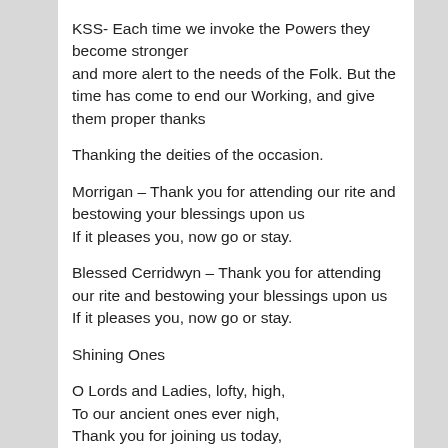KSS- Each time we invoke the Powers they become stronger and more alert to the needs of the Folk. But the time has come to end our Working, and give them proper thanks
Thanking the deities of the occasion.
Morrigan – Thank you for attending our rite and bestowing your blessings upon us
If it pleases you, now go or stay.
Blessed Cerridwyn – Thank you for attending our rite and bestowing your blessings upon us
If it pleases you, now go or stay.
Shining Ones
O Lords and Ladies, lofty, high,
To our ancient ones ever nigh,
Thank you for joining us today,